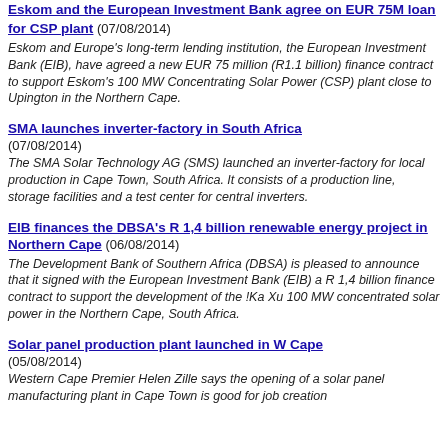Eskom and the European Investment Bank agree on EUR 75M loan for CSP plant (07/08/2014)
Eskom and Europe's long-term lending institution, the European Investment Bank (EIB), have agreed a new EUR 75 million (R1.1 billion) finance contract to support Eskom's 100 MW Concentrating Solar Power (CSP) plant close to Upington in the Northern Cape.
SMA launches inverter-factory in South Africa (07/08/2014)
The SMA Solar Technology AG (SMS) launched an inverter-factory for local production in Cape Town, South Africa. It consists of a production line, storage facilities and a test center for central inverters.
EIB finances the DBSA's R 1,4 billion renewable energy project in Northern Cape (06/08/2014)
The Development Bank of Southern Africa (DBSA) is pleased to announce that it signed with the European Investment Bank (EIB) a R 1,4 billion finance contract to support the development of the !Ka Xu 100 MW concentrated solar power in the Northern Cape, South Africa.
Solar panel production plant launched in W Cape (05/08/2014)
Western Cape Premier Helen Zille says the opening of a solar panel manufacturing plant in Cape Town is good for job creation...